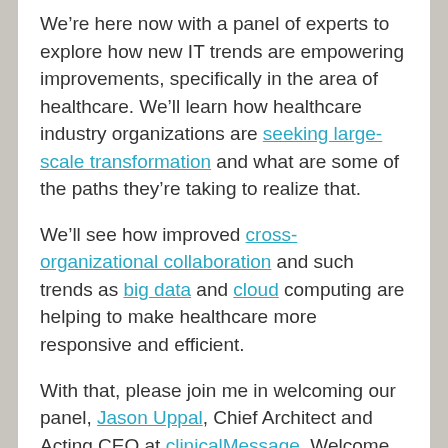We're here now with a panel of experts to explore how new IT trends are empowering improvements, specifically in the area of healthcare. We'll learn how healthcare industry organizations are seeking large-scale transformation and what are some of the paths they're taking to realize that.
We'll see how improved cross-organizational collaboration and such trends as big data and cloud computing are helping to make healthcare more responsive and efficient.
With that, please join me in welcoming our panel, Jason Uppal, Chief Architect and Acting CEO at clinicalMessage. Welcome, Jason.